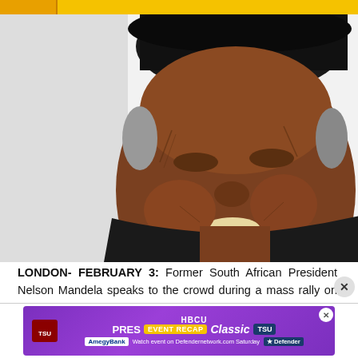[Figure (photo): Elderly Black man wearing a dark hat and jacket, smiling warmly, photographed against a light background. Portrait of Nelson Mandela.]
LONDON- FEBRUARY 3: Former South African President Nelson Mandela speaks to the crowd during a mass rally on February 3, 2005 in London, England. Mandela told the rally to “Make Poverty History in 2005” and to help set free the millions of people in the world’s poorest countries who remained
[Figure (screenshot): Advertisement banner for HBCU Presidential Classic Event Recap, featuring AmegyBank and Defender logos, with text 'Watch event on Defendernetwork.com Saturday']